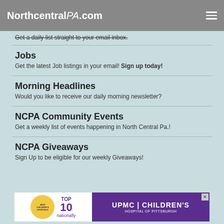NorthcentralPA.com
Get a daily list straight to your email inbox.
Jobs
Get the latest Job listings in your email! Sign up today!
Morning Headlines
Would you like to receive our daily morning newsletter?
NCPA Community Events
Get a weekly list of events happening in North Central Pa.!
NCPA Giveaways
Sign Up to be eligible for our weekly Giveaways!
[Figure (other): Advertisement banner: UPMC Children's Hospital of Pittsburgh - Best Children's Hospitals TOP 10 nationally]